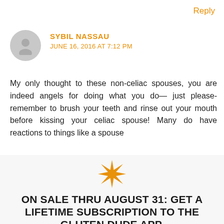Reply
SYBIL NASSAU
JUNE 16, 2016 AT 7:12 PM
My only thought to these non-celiac spouses, you are indeed angels for doing what you do— just please- remember to brush your teeth and rinse out your mouth before kissing your celiac spouse! Many do have reactions to things like a spouse
[Figure (illustration): Orange decorative star/asterisk icon]
ON SALE THRU AUGUST 31: GET A LIFETIME SUBSCRIPTION TO THE GLUTEN DUDE APP.
DETAILS